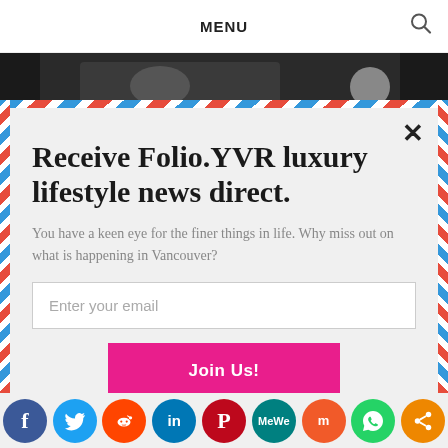MENU
[Figure (photo): Partial photo of dark object on light background, cropped at top of modal]
Receive Folio.YVR luxury lifestyle news direct.
You have a keen eye for the finer things in life. Why miss out on what is happening in Vancouver?
Enter your email
Join Us!
[Figure (infographic): Social media sharing icons row: Facebook, Twitter, Reddit, LinkedIn, Pinterest, MeWe, Mix, WhatsApp, Share]